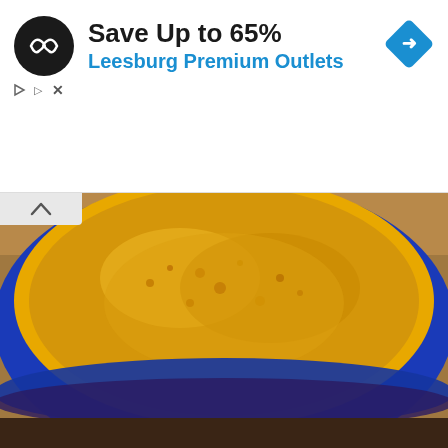[Figure (infographic): Advertisement banner: Black circular logo with double arrow/infinity symbol, text 'Save Up to 65%' in bold black and 'Leesburg Premium Outlets' in blue, blue diamond navigation icon on right, play and X controls on left below logo.]
[Figure (photo): Close-up photo of a blue ceramic bowl filled with bright yellow/orange turmeric powder, partially cropped, on a wooden surface.]
a Teaspoon on an Empty Stomach Drops Body Weight Like Crazy!
Trending New Finds
[Figure (photo): Close-up photo of a human foot/ankle, skin texture visible, beige/cream background. Small X button in bottom right corner.]